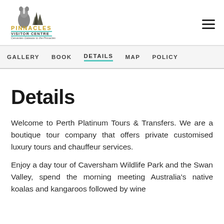[Figure (logo): Pinnacles Visitor Centre logo with animal silhouettes and teal/gold text reading PINNACLES VISITOR CENTRE, Cervantes Gateway to the Pinnacles]
GALLERY  BOOK  DETAILS  MAP  POLICY
Details
Welcome to Perth Platinum Tours & Transfers. We are a boutique tour company that offers private customised luxury tours and chauffeur services.
Enjoy a day tour of Caversham Wildlife Park and the Swan Valley, spend the morning meeting Australia's native koalas and kangaroos followed by wine